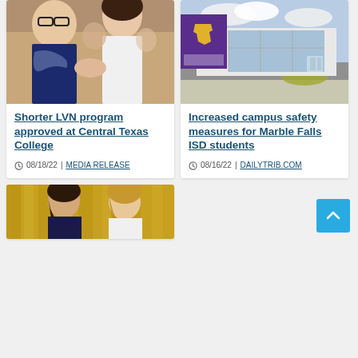[Figure (photo): Nursing instructor pinning a student at Central Texas College ceremony]
Shorter LVN program approved at Central Texas College
08/18/22 | MEDIA RELEASE
[Figure (photo): Marble Falls ISD school building exterior with purple sign]
Increased campus safety measures for Marble Falls ISD students
08/16/22 | DAILYTRIB.COM
[Figure (photo): Two women in front of yellow curtain background]